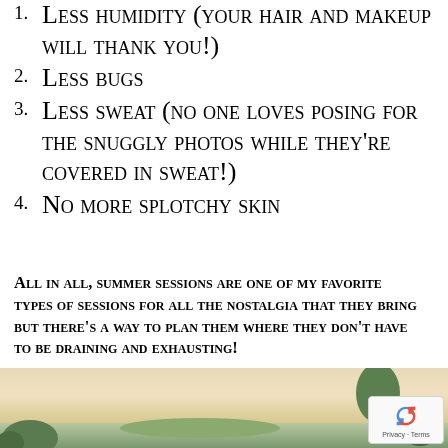1. Less humidity (your hair and makeup will thank you!)
2. Less bugs
3. Less sweat (no one loves posing for the snuggly photos while they're covered in sweat!)
4. No more splotchy skin
All in all, summer sessions are one of my favorite types of sessions for all the nostalgia that they bring but there's a way to plan them where they don't have to be draining and exhausting!
[Figure (photo): Outdoor scenic photo showing a pastel sky with trees silhouetted against it, with a reCAPTCHA badge overlay in the bottom right corner]